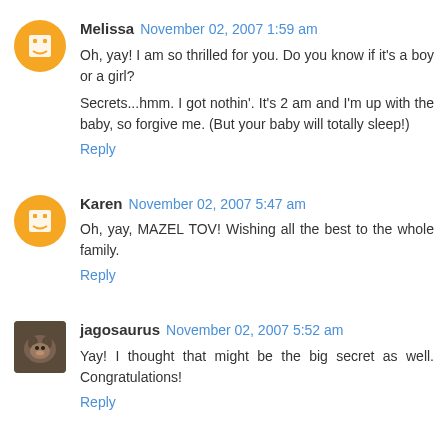Melissa  November 02, 2007 1:59 am
Oh, yay! I am so thrilled for you. Do you know if it's a boy or a girl?

Secrets...hmm. I got nothin'. It's 2 am and I'm up with the baby, so forgive me. (But your baby will totally sleep!)
Reply
Karen  November 02, 2007 5:47 am
Oh, yay, MAZEL TOV! Wishing all the best to the whole family.
Reply
jagosaurus  November 02, 2007 5:52 am
Yay! I thought that might be the big secret as well. Congratulations!
Reply